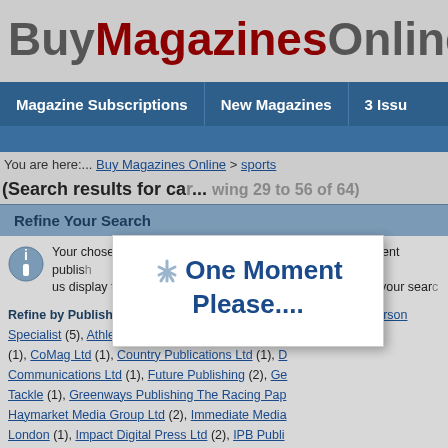BuyMagazinesOnline.co
Magazine Subscriptions | New Magazines | 3 Issu
You are here:... Buy Magazines Online > sports
Search results for ca... wing 29 to 56 of 64)
[Figure (screenshot): One Moment Please.... popup dialog box overlaying the page]
Refine Your Search
Your chosen magazine category covers magazines by different publishers. To help us display the magazines you are looking for, please refine your search.
Refine by Publisher: Aceville Publications Ltd Intermedia (2), Anderson Specialist (5), Athletics Weekly Limited (1), Bauer (1), CoMag Ltd (1), Country Publications Ltd (1), D Communications Ltd (1), Future Publishing (2), Ge Tackle (1), Greenways Publishing The Racing Pap Haymarket Media Group Ltd (2), Immediate Media London (1), Impact Digital Press Ltd (2), IPB Publi (1), ...